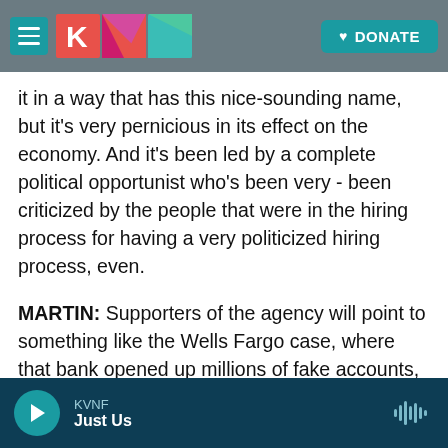KVNF logo and DONATE button
it in a way that has this nice-sounding name, but it's very pernicious in its effect on the economy. And it's been led by a complete political opportunist who's been very - been criticized by the people that were in the hiring process for having a very politicized hiring process, even.
MARTIN: Supporters of the agency will point to something like the Wells Fargo case, where that bank opened up millions of fake accounts, and because of the protections under the CFPB, the bank was held to account for that. If that agency is reformed or changed, what would happen in that
KVNF Just Us